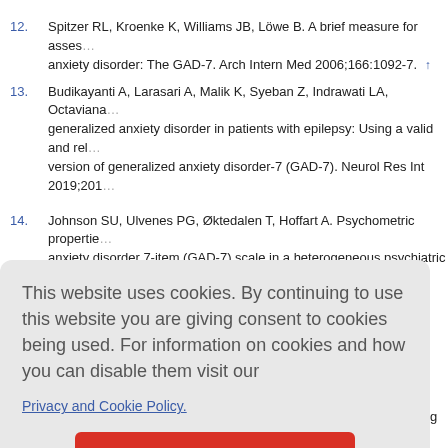12. Spitzer RL, Kroenke K, Williams JB, Löwe B. A brief measure for assessing generalized anxiety disorder: The GAD-7. Arch Intern Med 2006;166:1092-7. ↑
13. Budikayanti A, Larasari A, Malik K, Syeban Z, Indrawati LA, Octaviana [et al.] generalized anxiety disorder in patients with epilepsy: Using a valid and reliable version of generalized anxiety disorder-7 (GAD-7). Neurol Res Int 2019;2019 ↑
14. Johnson SU, Ulvenes PG, Øktedalen T, Hoffart A. Psychometric properties of the anxiety disorder 7-item (GAD-7) scale in a heterogeneous psychiatric sample. Front Psychiatry 2019;10:1713. ↑
This website uses cookies. By continuing to use this website you are giving consent to cookies being used. For information on cookies and how you can disable them visit our Privacy and Cookie Policy.
AGREE & PROCEED
19. Rajkumar RP. COVID-19 and mental health: A review of the existing literature